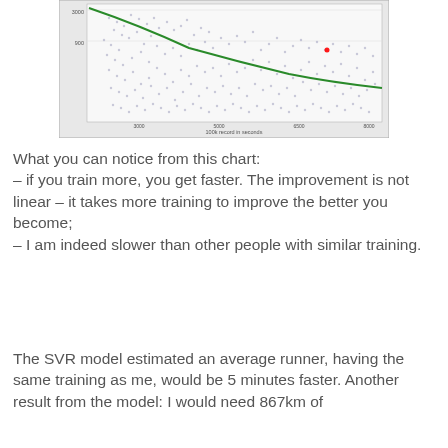[Figure (continuous-plot): Scatter plot with a fitted curve (green decreasing curve) showing the relationship between 100k record in seconds (x-axis) and Cumulative training in some unit (y-axis). Dense cloud of blue/grey data points with one red outlier point. The green curve shows a decreasing hyperbolic trend.]
What you can notice from this chart:
– if you train more, you get faster. The improvement is not linear – it takes more training to improve the better you become;
– I am indeed slower than other people with similar training.
The SVR model estimated an average runner, having the same training as me, would be 5 minutes faster. Another result from the model: I would need 867km of